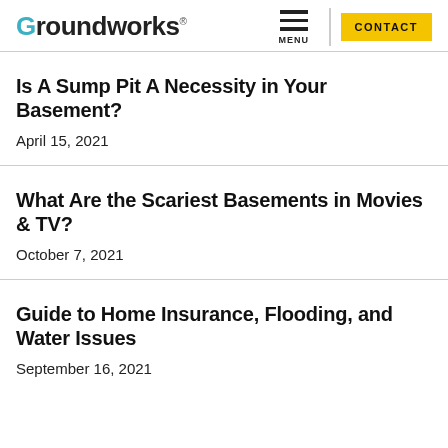Groundworks — MENU | CONTACT
Is A Sump Pit A Necessity in Your Basement?
April 15, 2021
What Are the Scariest Basements in Movies & TV?
October 7, 2021
Guide to Home Insurance, Flooding, and Water Issues
September 16, 2021